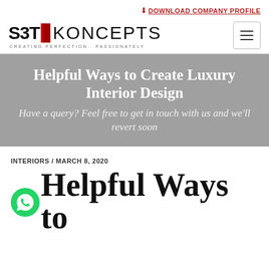DOWNLOAD COMPANY PROFILE
[Figure (logo): S3T Koncepts logo with tagline CREATING PERFECTION...PASSIONATELY and hamburger menu icon]
Helpful Ways to Create Luxury Interior Design
Have a query? Feel free to get in touch with us and we'll revert soon
INTERIORS / MARCH 8, 2020
Helpful Ways to